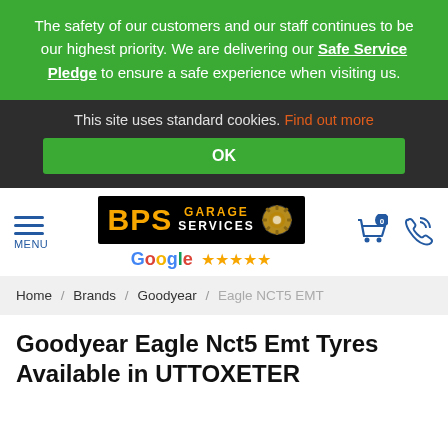The safety of our customers and our staff continues to be our highest priority. We are delivering our Safe Service Pledge to ensure a safe experience when visiting us.
This site uses standard cookies. Find out more
OK
[Figure (logo): BPS Garage Services logo with orange BPS text, GARAGE SERVICES in orange/white text and a gear/wrench icon on black background, followed by Google 5-star rating]
Home / Brands / Goodyear / Eagle NCT5 EMT
Goodyear Eagle Nct5 Emt Tyres Available in UTTOXETER